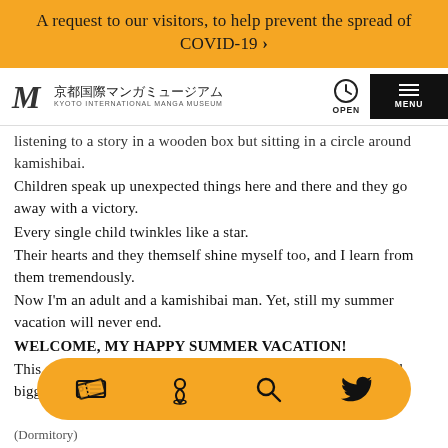A request to our visitors, to help prevent the spread of COVID-19 >
[Figure (logo): Kyoto International Manga Museum logo with M icon and Japanese text, plus OPEN and MENU buttons]
listening to a story in a wooden box but sitting in a circle around kamishibai.
Children speak up unexpected things here and there and they go away with a victory.
Every single child twinkles like a star.
Their hearts and they themself shine myself too, and I learn from them tremendously.
Now I'm an adult and a kamishibai man. Yet, still my summer vacation will never end.
WELCOME, MY HAPPY SUMMER VACATION!
This summer, we kamishibai people will grow more bigger and bigger like children!
[Figure (screenshot): Bottom navigation toolbar with ticket, map pin, search, and Twitter icons on orange rounded rectangle]
(Dormitory)